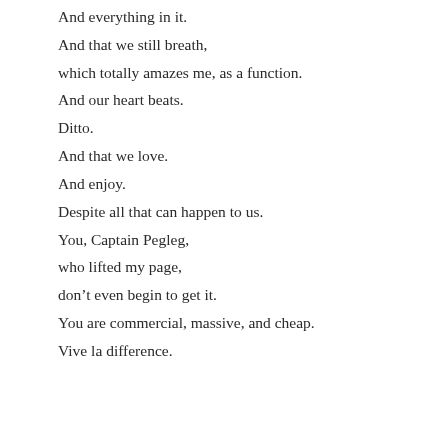And everything in it.
And that we still breath,
which totally amazes me, as a function.
And our heart beats.
Ditto.
And that we love.
And enjoy.
Despite all that can happen to us.
You, Captain Pegleg,
who lifted my page,
don't even begin to get it.
You are commercial, massive, and cheap.
Vive la difference.